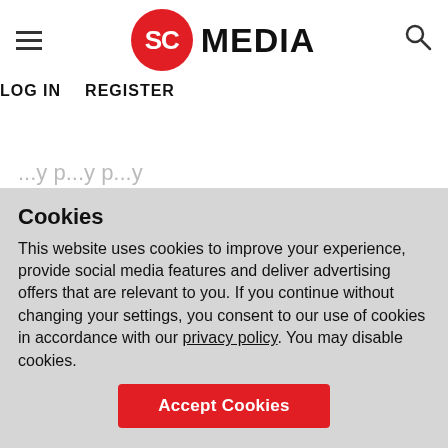SC MEDIA | LOG IN  REGISTER
Malik, security awareness advocate at KnowBe4, expect that, given the vast amounts of data collected and stored, leaks will continue to occur until organizations change their mindsets and develop a culture of security.
Cookies
This website uses cookies to improve your experience, provide social media features and deliver advertising offers that are relevant to you. If you continue without changing your settings, you consent to our use of cookies in accordance with our privacy policy. You may disable cookies.
Accept Cookies